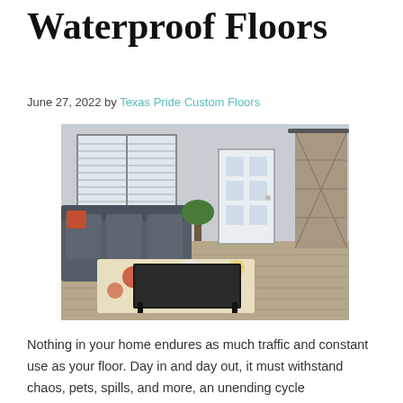Waterproof Floors
June 27, 2022 by Texas Pride Custom Floors
[Figure (photo): Interior living room with waterproof hardwood-style flooring, a sectional sofa, a black coffee table, a colorful floral area rug, tall windows with blinds, a white front door, and a rustic barn door on the right.]
Nothing in your home endures as much traffic and constant use as your floor. Day in and day out, it must withstand chaos, pets, spills, and more, an unending cycle